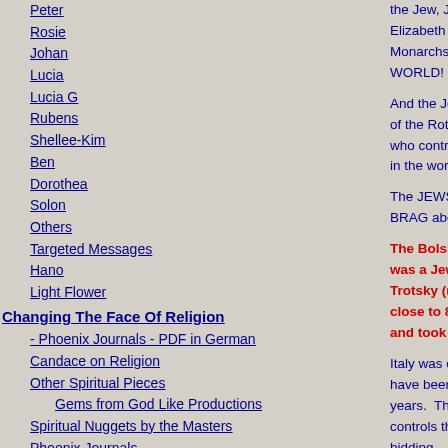Peter
Rosie
Johan
Lucia
Lucia G
Rubens
Shellee-Kim
Ben
Dorothea
Solon
Others
Targeted Messages
Hano
Light Flower
Changing The Face Of Religion
- Phoenix Journals - PDF in German
Candace on Religion
Other Spiritual Pieces
Gems from God Like Productions
Spiritual Nuggets by the Masters
Phoenix Journals
Phoenix Journals - PDF
the Jew, John Dee (Elizabeth I and conv Monarchs of Europe WORLD!
And the Jews STILL of the Rothschilds. who control ALL the in the world.
The JEWS had take BRAG about it to th
The Bolshevik Rev was a Jew. Karl M Trotsky (real name close to 80% of AL and took over Rus
Italy was controlled have been controlle years. The head of controls the Visible bidding.
Pope John Paul II Jewish. The Jews the Inquisition, whe who would not conv
International Jewry